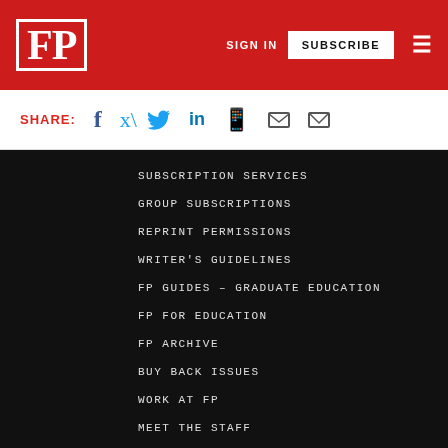FP | SIGN IN | SUBSCRIBE
SHARE:
SUBSCRIPTION SERVICES
GROUP SUBSCRIPTIONS
REPRINT PERMISSIONS
WRITER'S GUIDELINES
FP GUIDES – GRADUATE EDUCATION
FP FOR EDUCATION
FP ARCHIVE
BUY BACK ISSUES
WORK AT FP
MEET THE STAFF
ADVERTISING/PARTNERSHIPS
CONTACT US
PRIVACY POLICY
POWERED BY WORDPRESS VIP
© 2022, THE SLATE GROUP
By using this website, you agree to our use of cookies. This use includes personalization of content and ads, and traffic analytics. Review our Privacy Policy for more information.